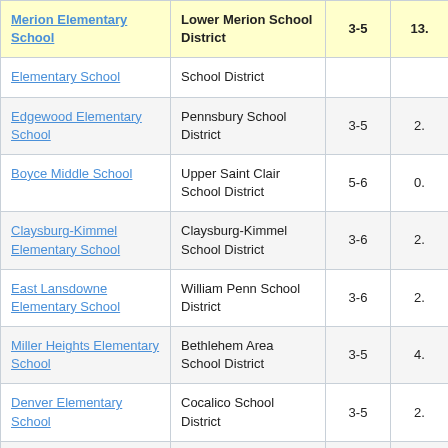| School | District | Grades | Score |
| --- | --- | --- | --- |
| Merion Elementary School | Lower Merion School District | 3-5 | 13. |
| Elementary School | School District |  |  |
| Edgewood Elementary School | Pennsbury School District | 3-5 | 2. |
| Boyce Middle School | Upper Saint Clair School District | 5-6 | 0. |
| Claysburg-Kimmel Elementary School | Claysburg-Kimmel School District | 3-6 | 2. |
| East Lansdowne Elementary School | William Penn School District | 3-6 | 2. |
| Miller Heights Elementary School | Bethlehem Area School District | 3-5 | 4. |
| Denver Elementary School | Cocalico School District | 3-5 | 2. |
| Rossmoyne Elementary School | West Shore School District | 3-5 | 3. |